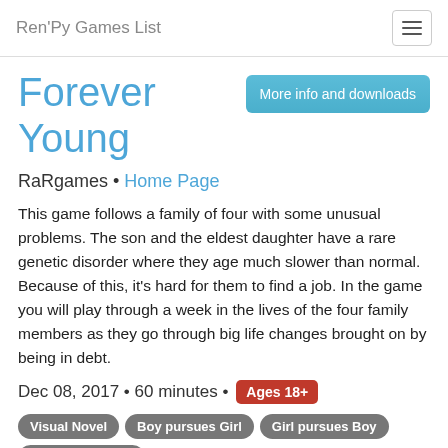Ren'Py Games List
Forever Young
RaRgames • Home Page
This game follows a family of four with some unusual problems. The son and the eldest daughter have a rare genetic disorder where they age much slower than normal. Because of this, it's hard for them to find a job. In the game you will play through a week in the lives of the four family members as they go through big life changes brought on by being in debt.
Dec 08, 2017 • 60 minutes • Ages 18+
Visual Novel
Boy pursues Girl
Girl pursues Boy
Girl pursues Girl